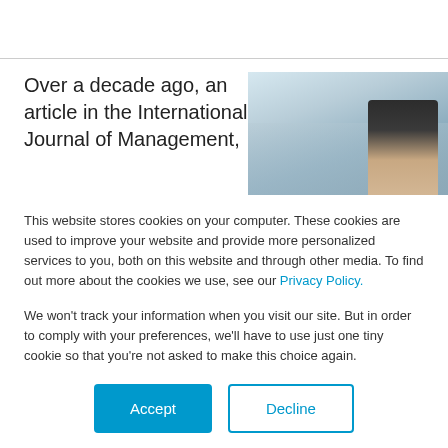Over a decade ago, an article in the International Journal of Management,
[Figure (photo): Photo of a smiling woman in a modern office environment]
This website stores cookies on your computer. These cookies are used to improve your website and provide more personalized services to you, both on this website and through other media. To find out more about the cookies we use, see our Privacy Policy.
We won't track your information when you visit our site. But in order to comply with your preferences, we'll have to use just one tiny cookie so that you're not asked to make this choice again.